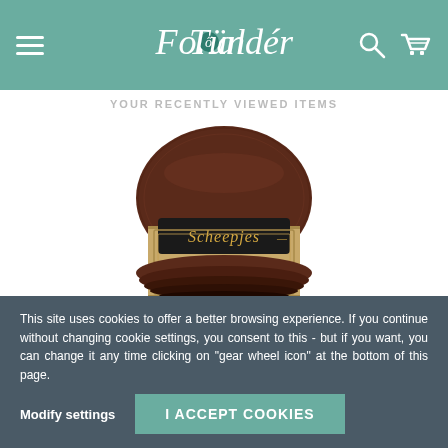Fonal Tündér - navigation header with menu, logo, search, and cart icons
YOUR RECENTLY VIEWED ITEMS
[Figure (photo): A skein of dark brown yarn with a Scheepjes Softfun label wrapped around it]
This site uses cookies to offer a better browsing experience. If you continue without changing cookie settings, you consent to this - but if you want, you can change it any time clicking on "gear wheel icon" at the bottom of this page.
Modify settings
I ACCEPT COOKIES